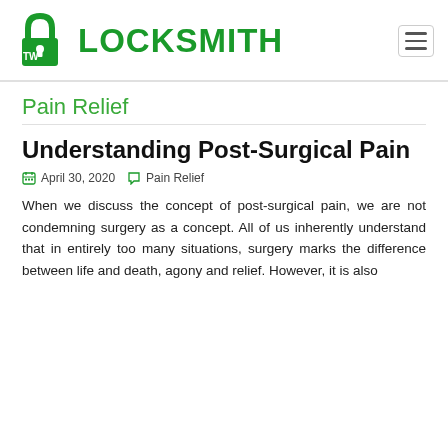[Figure (logo): TW Locksmith logo with green padlock icon and green bold text LOCKSMITH]
Pain Relief
Understanding Post-Surgical Pain
April 30, 2020   Pain Relief
When we discuss the concept of post-surgical pain, we are not condemning surgery as a concept. All of us inherently understand that in entirely too many situations, surgery marks the difference between life and death, agony and relief. However, it is also